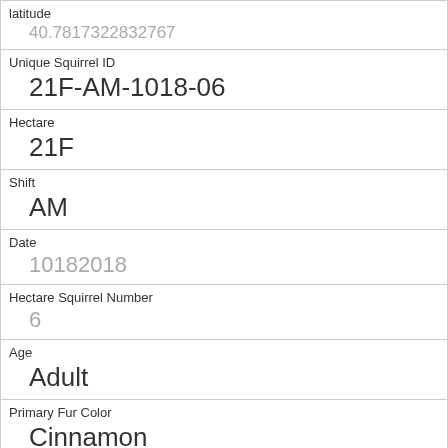| Field | Value |
| --- | --- |
| latitude | 40.7817322832767 |
| Unique Squirrel ID | 21F-AM-1018-06 |
| Hectare | 21F |
| Shift | AM |
| Date | 10182018 |
| Hectare Squirrel Number | 6 |
| Age | Adult |
| Primary Fur Color | Cinnamon |
| Highlight Fur Color | Gray |
| Combination of Primary and Highlight Color | Cinnamon+Gray |